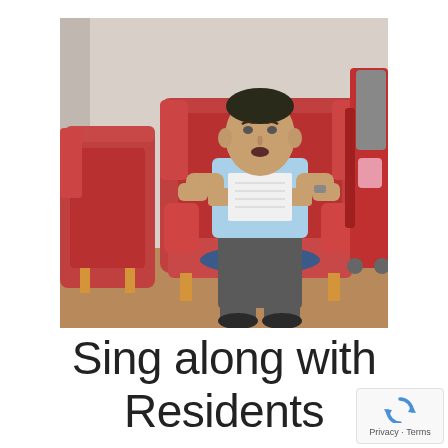[Figure (photo): Elderly man sitting in a red wingback armchair, holding a piece of paper, wearing a light blue short-sleeve shirt and grey trousers. Red chairs visible in background on the right side.]
Sing along with Residents
[Figure (logo): reCAPTCHA logo with Privacy and Terms text]